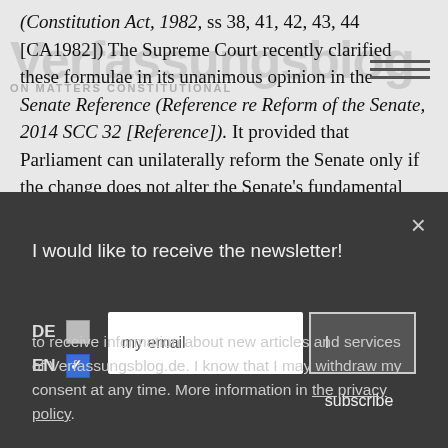(Constitution Act, 1982, ss 38, 41, 42, 43, 44 [CA1982]) The Supreme Court recently clarified these formulae in its unanimous opinion in the Senate Reference (Reference re Reform of the Senate, 2014 SCC 32 [Reference]). It provided that Parliament can unilaterally reform the Senate only if the change does not alter the Senate's fundamental
[Figure (screenshot): Newsletter subscription modal overlay on dark background. Contains close button (×), title 'I would like to receive the newsletter!', language checkboxes (DE unchecked, EN checked), email input field with placeholder 'my email', 'I subscribe' button, and footer text about privacy policy.]
I would like to receive the newsletter!
to receive information about new articles and services of Verfassungsblog.de. I know that I may withdraw my consent at any time. More information in the privacy policy.